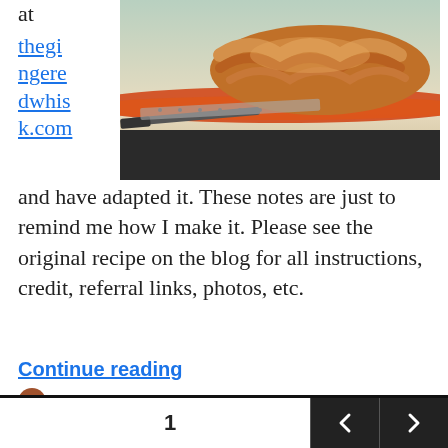at thegingeredwhisk.com
[Figure (photo): Close-up photo of braided bread (challah) on a baking mat with a knife visible in the foreground]
and have adapted it. These notes are just to remind me how I make it. Please see the original recipe on the blog for all instructions, credit, referral links, photos, etc.
Continue reading
lisa / October 18, 2020 / bread, gluten, Jewish holiday, recipe / Leave a comment
1